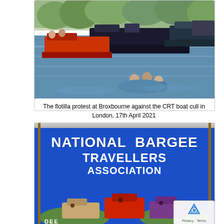[Figure (photo): Photo of a flotilla of canal narrowboats on a waterway at Broxbourne, taken during a protest against the CRT boat cull in London on 17th April 2021. Multiple narrowboats visible including one with orange/red coloring in the foreground, set against trees and blue sky.]
The flotilla protest at Broxbourne against the CRT boat cull in London, 17th April 2021
[Figure (photo): Photo of a large blue banner reading 'National Bargee Travellers Association' in bold white uppercase letters, with an embroidered logo showing colourful narrowboats at the bottom. A reCAPTCHA badge is visible in the bottom right corner. The bottom of the banner shows the word 'DEE...' partially visible.]